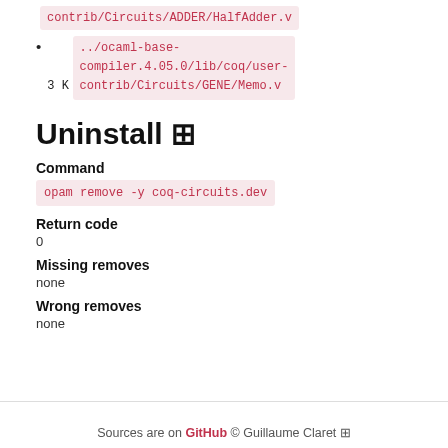3 K ../ocaml-base-compiler.4.05.0/lib/coq/user-contrib/Circuits/ADDER/HalfAdder.v
3 K ../ocaml-base-compiler.4.05.0/lib/coq/user-contrib/Circuits/GENE/Memo.v
Uninstall ⊞
Command
opam remove -y coq-circuits.dev
Return code
0
Missing removes
none
Wrong removes
none
Sources are on GitHub © Guillaume Claret ⊞